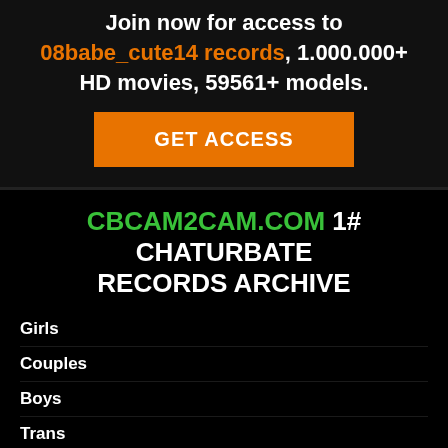Join now for access to 08babe_cute14 records, 1.000.000+ HD movies, 59561+ models.
GET ACCESS
CBCAM2CAM.COM 1# CHATURBATE RECORDS ARCHIVE
Girls
Couples
Boys
Trans
FULL CATALOG